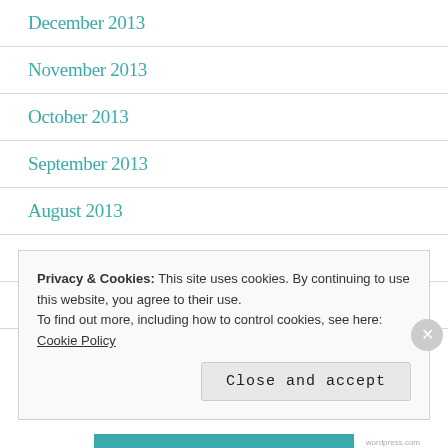December 2013
November 2013
October 2013
September 2013
August 2013
July 2013
April 2013
Privacy & Cookies: This site uses cookies. By continuing to use this website, you agree to their use.
To find out more, including how to control cookies, see here: Cookie Policy
Close and accept